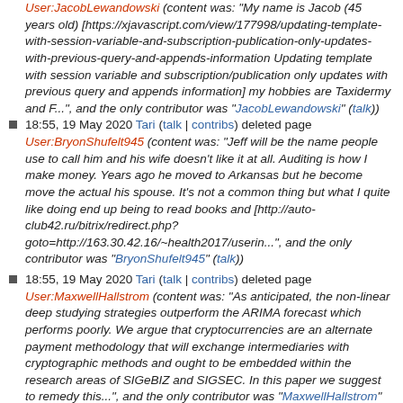User:JacobLewandowski (content was: "My name is Jacob (45 years old) [https://xjavascript.com/view/177998/updating-template-with-session-variable-and-subscription-publication-only-updates-with-previous-query-and-appends-information Updating template with session variable and subscription/publication only updates with previous query and appends information] my hobbies are Taxidermy and F...", and the only contributor was "JacobLewandowski" (talk))
18:55, 19 May 2020 Tari (talk | contribs) deleted page User:BryonShufelt945 (content was: "Jeff will be the name people use to call him and his wife doesn't like it at all. Auditing is how I make money. Years ago he moved to Arkansas but he become move the actual his spouse. It's not a common thing but what I quite like doing end up being to read books and [http://auto-club42.ru/bitrix/redirect.php?goto=http://163.30.42.16/~health2017/userin...", and the only contributor was "BryonShufelt945" (talk))
18:55, 19 May 2020 Tari (talk | contribs) deleted page User:MaxwellHallstrom (content was: "As anticipated, the non-linear deep studying strategies outperform the ARIMA forecast which performs poorly. We argue that cryptocurrencies are an alternate payment methodology that will exchange intermediaries with cryptographic methods and ought to be embedded within the research areas of SIGeBIZ and SIGSEC. In this paper we suggest to remedy this...", and the only contributor was "MaxwellHallstrom" (talk))